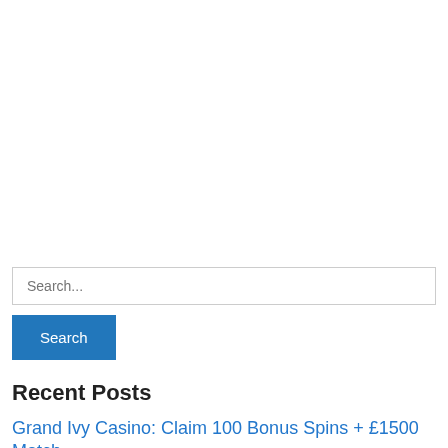Search...
Search
Recent Posts
Grand Ivy Casino: Claim 100 Bonus Spins + £1500 Match Bonus